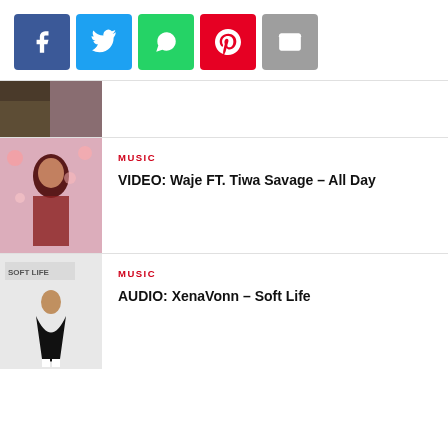[Figure (infographic): Social share buttons row: Facebook (blue), Twitter (cyan), WhatsApp (green), Pinterest (red), Email (grey)]
[Figure (photo): Partial cropped image of a music artist at the top]
MUSIC
VIDEO: Waje FT. Tiwa Savage – All Day
[Figure (photo): Music thumbnail image for Waje FT. Tiwa Savage – All Day, showing a singing woman in red outfit]
MUSIC
AUDIO: XenaVonn – Soft Life
[Figure (photo): Music thumbnail image for XenaVonn Soft Life, showing a woman in black dress with Soft Life text]